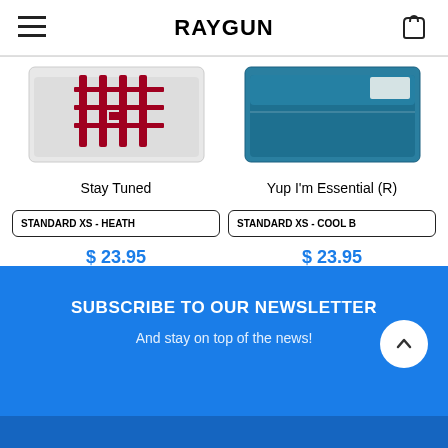RAYGUN
[Figure (photo): Product photo of a folded gray t-shirt with red graphic design - Stay Tuned]
Stay Tuned
[Figure (photo): Product photo of a folded teal/blue t-shirt - Yup I'm Essential (R)]
Yup I'm Essential (R)
STANDARD XS - HEATH
$ 23.95
Add to cart
STANDARD XS - COOL B
$ 23.95
Add to cart
SUBSCRIBE TO OUR NEWSLETTER
And stay on top of the news!